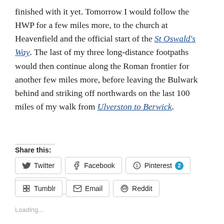finished with it yet.  Tomorrow I would follow the HWP for a few miles more, to the church at Heavenfield and the official start of the St Oswald's Way.  The last of my three long-distance footpaths would then continue along the Roman frontier for another few miles more, before leaving the Bulwark behind and striking off northwards on the last 100 miles of my walk from Ulverston to Berwick.
Share this:
[Figure (screenshot): Social sharing buttons: Twitter, Facebook, Pinterest (with badge 2), LinkedIn, Tumblr, Email, Reddit]
Loading...